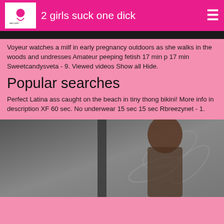2 girls suck one dick
[Figure (photo): Dark top portion of an image, partially visible at the top of the page]
Voyeur watches a milf in early pregnancy outdoors as she walks in the woods and undresses Amateur peeping fetish 17 min p 17 min Sweetcandysveta - 9. Viewed videos Show all Hide.
Popular searches
Perfect Latina ass caught on the beach in tiny thong bikini! More info in description XF 60 sec. No underwear 15 sec 15 sec Rbreezynet - 1.
[Figure (photo): Bottom portion showing a woman with dark hair against a gray background with decorative leaf patterns]